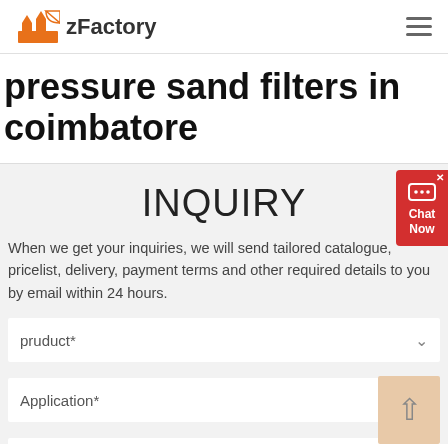zFactory
pressure sand filters in coimbatore
INQUIRY
When we get your inquiries, we will send tailored catalogue, pricelist, delivery, payment terms and other required details to you by email within 24 hours.
pruduct*
Application*
Capacity*